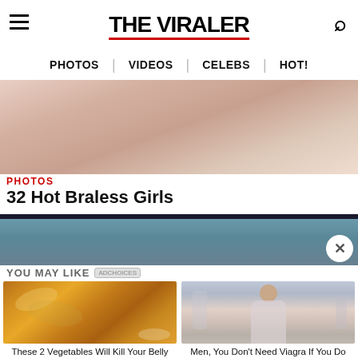THE VIRALER
PHOTOS | VIDEOS | CELEBS | HOT!
[Figure (photo): Cropped close-up photo of a person's shoulder/back area in white clothing]
PHOTOS
32 Hot Braless Girls
[Figure (photo): Partial background image, teal/blue tones]
YOU MAY LIKE  ADCHOICES
[Figure (photo): Food photo showing fried/baked plantains on a white plate]
These 2 Vegetables Will Kill Your Belly And Arm Fat Overnight!
[Figure (photo): Photo of a middle-aged woman in a light pink outfit in a modern room]
Men, You Don't Need Viagra If You Do This Once A Day